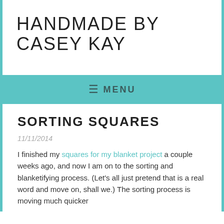HANDMADE BY CASEY KAY
≡ MENU
SORTING SQUARES
11/11/2014
I finished my squares for my blanket project a couple weeks ago, and now I am on to the sorting and blanketifying process. (Let's all just pretend that is a real word and move on, shall we.) The sorting process is moving much quicker